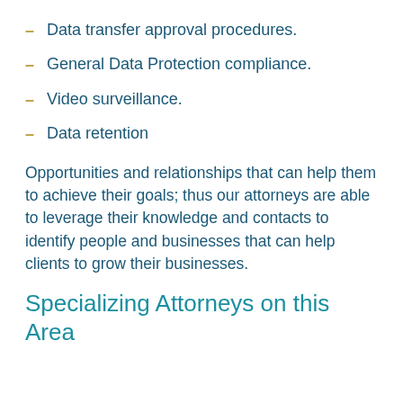Data transfer approval procedures.
General Data Protection compliance.
Video surveillance.
Data retention
Opportunities and relationships that can help them to achieve their goals; thus our attorneys are able to leverage their knowledge and contacts to identify people and businesses that can help clients to grow their businesses.
Specializing Attorneys on this Area